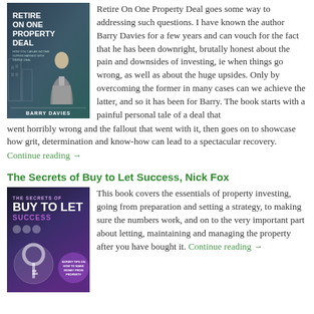[Figure (photo): Book cover: Retire On One Property Deal by Barry Davies. Dark blue/teal background with man in suit and buildings.]
Retire On One Property Deal goes some way to addressing such questions. I have known the author Barry Davies for a few years and can vouch for the fact that he has been downright, brutally honest about the pain and downsides of investing, ie when things go wrong, as well as about the huge upsides. Only by overcoming the former in many cases can we achieve the latter, and so it has been for Barry. The book starts with a painful personal tale of a deal that went horribly wrong and the fallout that went with it, then goes on to showcase how grit, determination and know-how can lead to a spectacular recovery.
Continue reading →
The Secrets of Buy to Let Success, Nick Fox
[Figure (photo): Book cover: The Secrets of Buy to Let Success. Dark purple background with large key graphic and circular badge.]
This book covers the essentials of property investing, going from preparation and setting a strategy, to making sure the numbers work, and on to the very important part about letting, maintaining and managing the property after you have bought it. Continue reading →